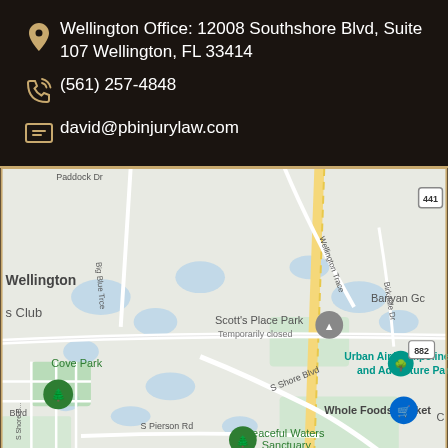Wellington Office: 12008 Southshore Blvd, Suite 107 Wellington, FL 33414
(561) 257-4848
david@pbinjurylaw.com
[Figure (map): Google Maps showing Wellington FL area near 12008 Southshore Blvd, showing Scott's Place Park (Temporarily closed), Urban Air Trampoline and Adventure Park, Whole Foods Market, Cove Park, Peaceful Waters Sanctuary, Big Blue Trace road, Wellington Trace road, Birkdale Dr, S Shore Blvd, S Pierson Rd, Paddock Dr, and route 441 and 882 markers.]